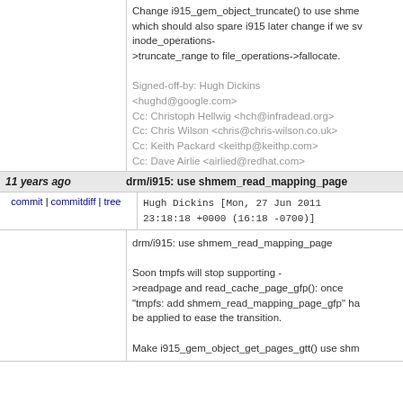Change i915_gem_object_truncate() to use shmem which should also spare i915 later change if we switch inode_operations->truncate_range to file_operations->fallocate. Signed-off-by: Hugh Dickins <hughd@google.com> Cc: Christoph Hellwig <hch@infradead.org> Cc: Chris Wilson <chris@chris-wilson.co.uk> Cc: Keith Packard <keithp@keithp.com> Cc: Dave Airlie <airlied@redhat.com> Signed-off-by: Andrew Morton <akpm@linux-foundation.org> Signed-off-by: Linus Torvalds <torvalds@linux-foundation.org>
11 years ago	drm/i915: use shmem_read_mapping_page
commit | commitdiff | tree	Hugh Dickins [Mon, 27 Jun 2011 23:18:18 +0000 (16:18 -0700)]
drm/i915: use shmem_read_mapping_page

Soon tmpfs will stop supporting ->readpage and read_cache_page_gfp(): once "tmpfs: add shmem_read_mapping_page_gfp" has be applied to ease the transition.

Make i915_gem_object_get_pages_gtt() use shm